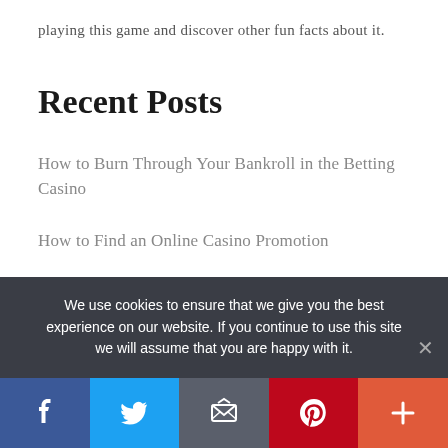playing this game and discover other fun facts about it.
Recent Posts
How to Burn Through Your Bankroll in the Betting Casino
How to Find an Online Casino Promotion
Online Casino Bonus Tips – What Is the Best Online Casino Deposit Bonuses?
We use cookies to ensure that we give you the best experience on our website. If you continue to use this site we will assume that you are happy with it.